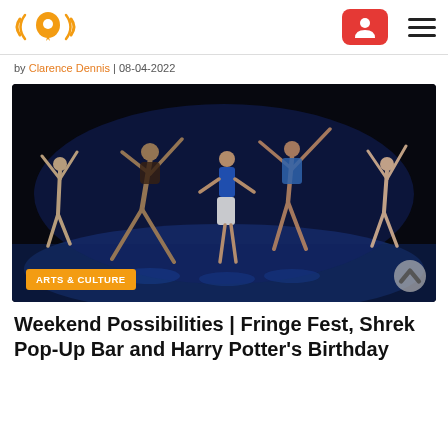Logo and navigation header with radio/location logo, user account button, and hamburger menu
by Clarence Dennis | 08-04-2022
[Figure (photo): Dancers performing on a blue-lit stage, multiple performers in dynamic poses with arms raised, dark background. Orange badge reading 'ARTS & CULTURE' in lower left.]
Weekend Possibilities | Fringe Fest, Shrek Pop-Up Bar and Harry Potter's Birthday